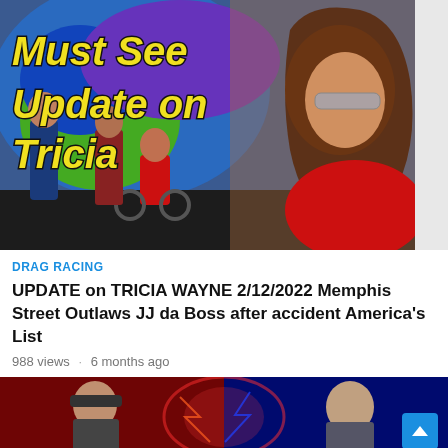[Figure (photo): Thumbnail image showing a woman with long hair and sunglasses wearing a red shirt on the right, and a group of people including someone in a wheelchair on the left, against a colorful painted bus/backdrop. Bold yellow italic text overlay reads 'Must See Update on Tricia'.]
DRAG RACING
UPDATE on TRICIA WAYNE 2/12/2022 Memphis Street Outlaws JJ da Boss after accident America's List
988 views · 6 months ago
[Figure (screenshot): Partial thumbnail of a second video showing two men, one on the left with a cap against a red background, one on the right against a blue background, with dramatic lighting effects.]